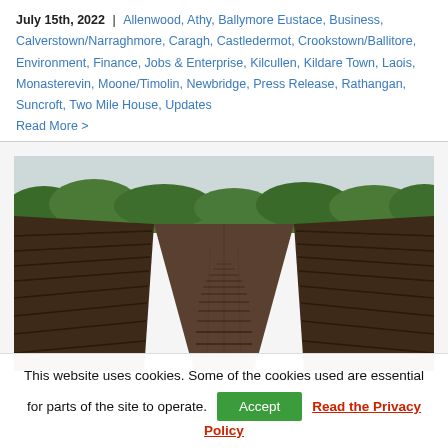July 15th, 2022 | Allenwood, Athy, Ballymore Eustace, Business, Calverstown/Narraghmore, Caragh, Castledermot, Crookstown/Ballitore, Environment, Finance, Jobs & Enterprise, Kilcullen, Kildare Town, Laois, Monasterevin, Moone/Timolin, Newbridge, Press Release, Rathangan, Suncroft, Two Mile House, Updates
Read More >
[Figure (photo): Perspective view of a peat bog cutting with rows of cut peat bricks stacked on either side of a central path, green trees and shrubs visible in the background under a light sky.]
This website uses cookies. Some of the cookies used are essential for parts of the site to operate. Accept Read the Privacy Policy